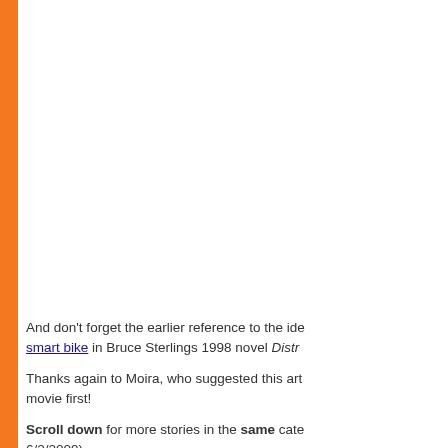And don't forget the earlier reference to the ide smart bike in Bruce Sterlings 1998 novel Distr…
Thanks again to Moira, who suggested this ar… movie first!
Scroll down for more stories in the same cate… 6/2/2009)
Follow this kind of news @Technovel…
| Email | RSS | Blog It | Stumble | de…
Would you like to contribute a s… Get the URL of the story, and the related…
Comment/Join discussion ( 2 )